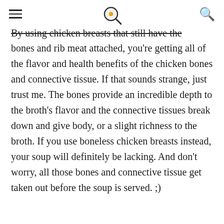≡  [logo]  🔍
By using chicken breasts that still have the bones and rib meat attached, you're getting all of the flavor and health benefits of the chicken bones and connective tissue. If that sounds strange, just trust me. The bones provide an incredible depth to the broth's flavor and the connective tissues break down and give body, or a slight richness to the broth. If you use boneless chicken breasts instead, your soup will definitely be lacking. And don't worry, all those bones and connective tissue get taken out before the soup is served. ;)